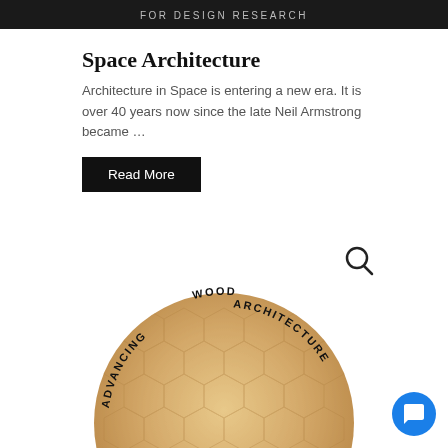FOR DESIGN RESEARCH
Space Architecture
Architecture in Space is entering a new era. It is over 40 years now since the late Neil Armstrong became …
Read More
[Figure (photo): Circular wooden honeycomb-textured installation with text curving around it reading 'ADVANCING WOOD ARCHITECTURE', with a person standing beneath it. A search/magnify icon is visible top right.]